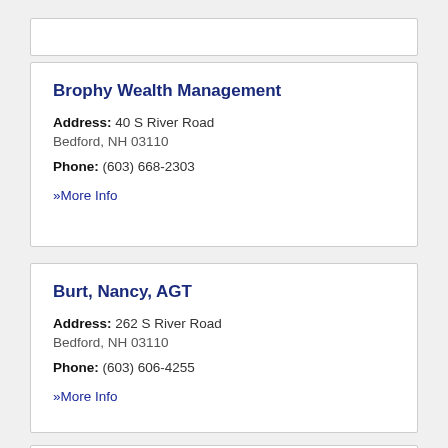Brophy Wealth Management
Address: 40 S River Road
Bedford, NH 03110
Phone: (603) 668-2303
» More Info
Burt, Nancy, AGT
Address: 262 S River Road
Bedford, NH 03110
Phone: (603) 606-4255
» More Info